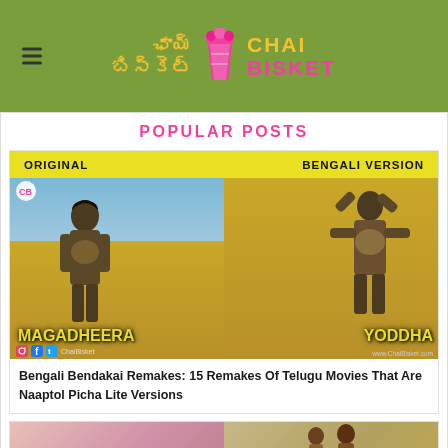[Figure (logo): Chai Bisket logo with Telugu script and English text on green background]
POPULAR POSTS
[Figure (illustration): Meme image comparing Original (Magadheera) vs Bengali Version (Yoddha) movie posters - warrior characters side by side on yellow bar]
Bengali Bendakai Remakes: 15 Remakes Of Telugu Movies That Are Naaptol Picha Lite Versions
[Figure (photo): Second popular post thumbnail partially visible at bottom - two images side by side]